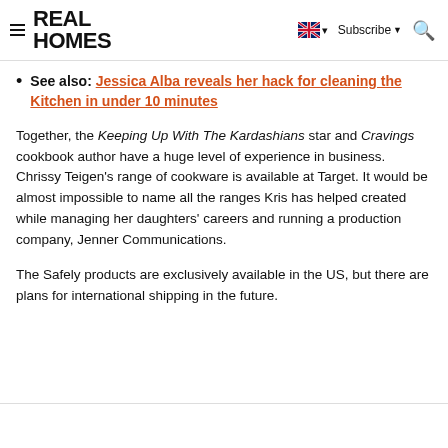REAL HOMES
See also: Jessica Alba reveals her hack for cleaning the Kitchen in under 10 minutes
Together, the Keeping Up With The Kardashians star and Cravings cookbook author have a huge level of experience in business. Chrissy Teigen's range of cookware is available at Target. It would be almost impossible to name all the ranges Kris has helped created while managing her daughters' careers and running a production company, Jenner Communications.
The Safely products are exclusively available in the US, but there are plans for international shipping in the future.